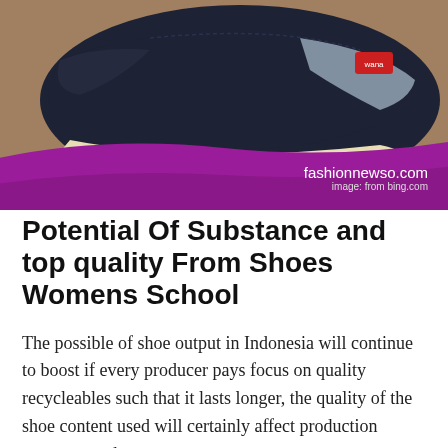[Figure (photo): Close-up photo of dark navy/blue slip-on canvas shoes with cream soles on a wooden surface. A purple/magenta curved banner overlays the bottom of the image with website watermark text.]
fashionnewso.com
image: from bing.com
Potential Of Substance and top quality From Shoes Womens School
The possible of shoe output in Indonesia will continue to boost if every producer pays focus on quality recycleables such that it lasts longer, the quality of the shoe content used will certainly affect production expenses and